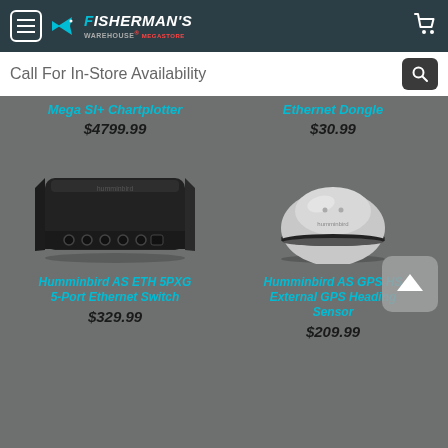Fisherman's Warehouse Megastore - Call For In-Store Availability
Mega SI+ Chartplotter
$4799.99
Ethernet Dongle
$30.99
[Figure (photo): Humminbird AS ETH 5PXG 5-Port Ethernet Switch - black rectangular device with multiple ports]
[Figure (photo): Humminbird AS GPS HS External GPS Heading Sensor - round grey dome-shaped device]
Humminbird AS ETH 5PXG 5-Port Ethernet Switch
$329.99
Humminbird AS GPS HS External GPS Heading Sensor
$209.99